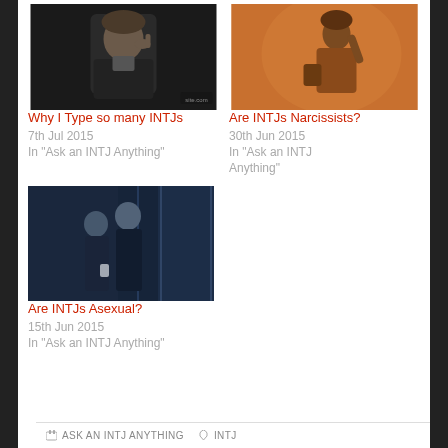[Figure (photo): Man with finger to temple, dark background (thinking pose)]
Why I Type so many INTJs
7th Jul 2015
In "Ask an INTJ Anything"
[Figure (photo): Person in orange/amber toned scene holding something]
Are INTJs Narcissists?
30th Jun 2015
In "Ask an INTJ Anything"
[Figure (photo): Two people facing each other in a blue-toned scene, one holding a cup]
Are INTJs Asexual?
15th Jun 2015
In "Ask an INTJ Anything"
ASK AN INTJ ANYTHING   INTJ